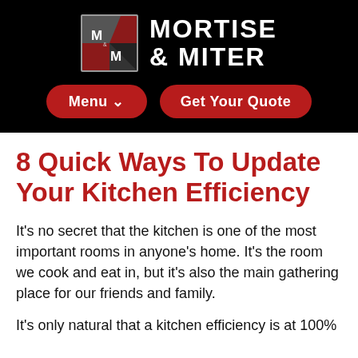[Figure (logo): Mortise & Miter logo with stylized M&M icon in red and grey on black background, and brand name text MORTISE & MITER in white]
[Figure (screenshot): Navigation bar with two red rounded buttons: 'Menu v' and 'Get Your Quote']
8 Quick Ways To Update Your Kitchen Efficiency
It's no secret that the kitchen is one of the most important rooms in anyone's home. It's the room we cook and eat in, but it's also the main gathering place for our friends and family.
It's only natural that a kitchen efficiency is at 100%